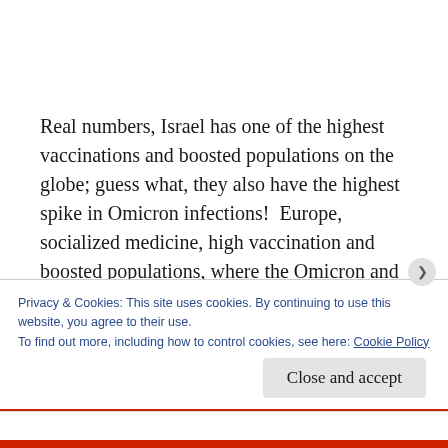Real numbers, Israel has one of the highest vaccinations and boosted populations on the globe; guess what, they also have the highest spike in Omicron infections!  Europe, socialized medicine, high vaccination and boosted populations, where the Omicron and Delta variants spiked infection rates.  Think of this for a moment, populations forced by government to vaccinate, and they are still
Privacy & Cookies: This site uses cookies. By continuing to use this website, you agree to their use.
To find out more, including how to control cookies, see here: Cookie Policy
Close and accept